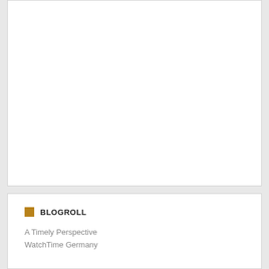[Figure (other): White card area, mostly blank/empty content above]
BLOGROLL
A Timely Perspective
WatchTime Germany